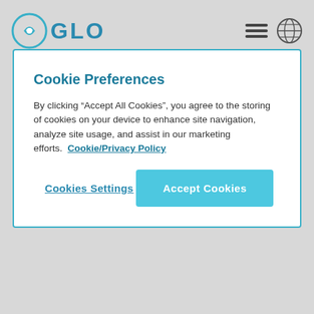GLO
Cookie Preferences
By clicking “Accept All Cookies”, you agree to the storing of cookies on your device to enhance site navigation, analyze site usage, and assist in our marketing efforts.  Cookie/Privacy Policy
Cookies Settings   Accept Cookies
The business itself are market leaders, valued at double their competition on the stock market. They have seen over 300% growth in the last three years. This presents an excellent opportunity to join a market leading business.
Responsibilities:
Maximise the revenues of existing partnerships